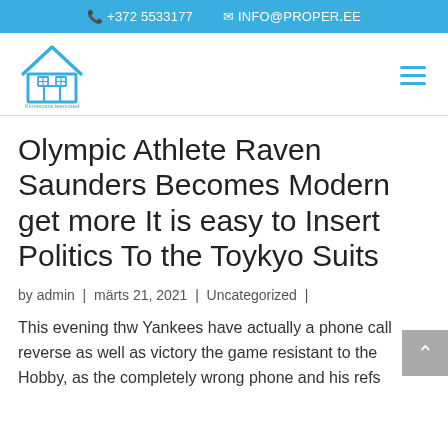📞 +372 5533177   ✉ INFO@PROPER.EE
[Figure (logo): Proper real estate logo — blue house outline icon with text below]
Olympic Athlete Raven Saunders Becomes Modern get more It is easy to Insert Politics To the Toykyo Suits
by admin | märts 21, 2021 | Uncategorized |
This evening thw Yankees have actually a phone call reverse as well as victory the game resistant to the Hobby, as the completely wrong phone and his refs